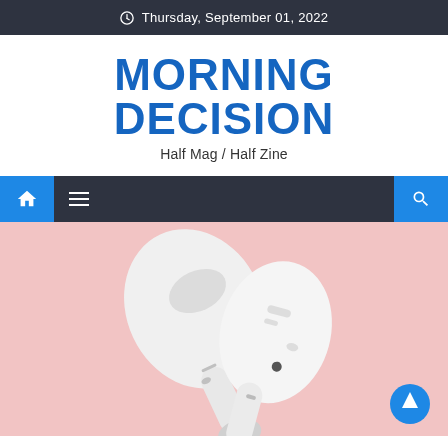Thursday, September 01, 2022
MORNING DECISION
Half Mag / Half Zine
[Figure (other): Navigation bar with home icon, hamburger menu icon, and search icon on dark background with blue accent buttons]
[Figure (photo): Two white Apple AirPods Pro earbuds lying on a pink background]